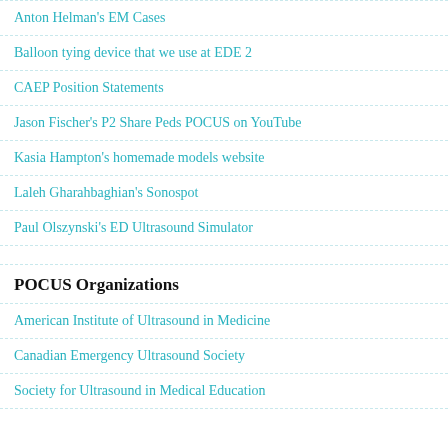Anton Helman's EM Cases
Balloon tying device that we use at EDE 2
CAEP Position Statements
Jason Fischer's P2 Share Peds POCUS on YouTube
Kasia Hampton's homemade models website
Laleh Gharahbaghian's Sonospot
Paul Olszynski's ED Ultrasound Simulator
POCUS Organizations
American Institute of Ultrasound in Medicine
Canadian Emergency Ultrasound Society
Society for Ultrasound in Medical Education